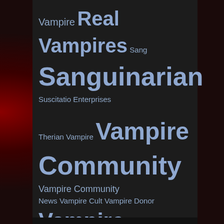[Figure (other): Tag cloud on dark background with vampire/subculture related terms in varying font sizes. Terms include: Vampire, Real Vampires, Sang, Sanguinarian, Suscitatio Enterprises, Therian Vampire, Vampire Community, Vampire Community News, Vampire Cult, Vampire Donor, Vampire Lifestyle, Vampire News, Vampire Research, Vampires, Vampire Subculture, Vampirism, Vampyre, Vampyres, VCN, Voices of the Vampire Community, VVC]